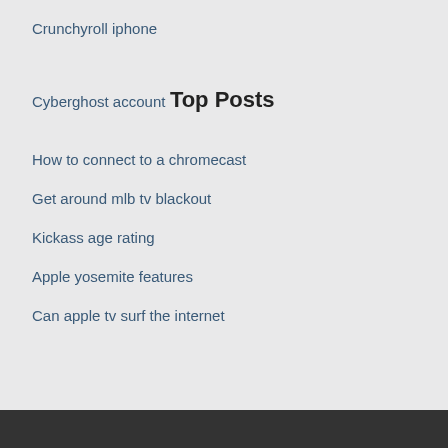Crunchyroll iphone
Cyberghost account
Top Posts
How to connect to a chromecast
Get around mlb tv blackout
Kickass age rating
Apple yosemite features
Can apple tv surf the internet